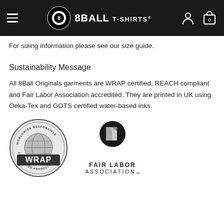8BALL T-SHIRTS
For sizing information please see our size guide.
Sustainability Message
All 8Ball Originals garments are WRAP certified, REACH compliant and Fair Labor Association accredited. They are printed in UK using Oeka-Tex and GOTS certified water-based inks.
[Figure (logo): WRAP - Worldwide Responsible Accredited Production circular badge logo in grayscale]
[Figure (logo): Fair Labor Association logo with document/book icon in grayscale]